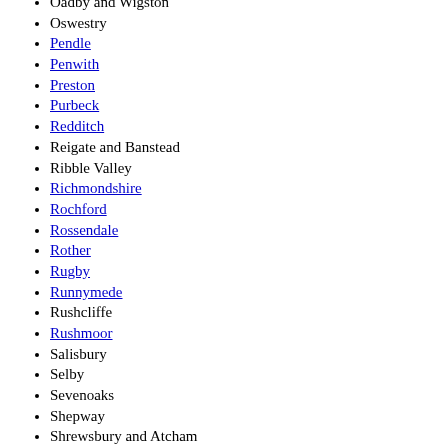Oadby and Wigston
Oswestry
Pendle
Penwith
Preston
Purbeck
Redditch
Reigate and Banstead
Ribble Valley
Richmondshire
Rochford
Rossendale
Rother
Rugby
Runnymede
Rushcliffe
Rushmoor
Salisbury
Selby
Sevenoaks
Shepway
Shrewsbury and Atcham
South Bedfordshire
South Bucks
South Cambridgeshire
South Derbyshire